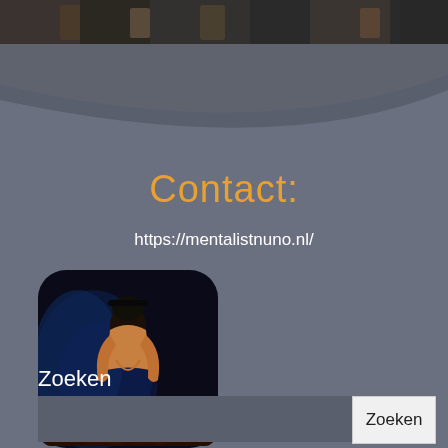[Figure (photo): Top strip showing a dark action/combat scene image]
Contact:
https://mentalistnuno.nl/
[Figure (logo): Nuno mentalist logo: a shirtless figure bowing with blue smoke background and 'NUNO' text in fiery orange letters at the bottom, with rounded square frame]
Zoeken
Zoeken